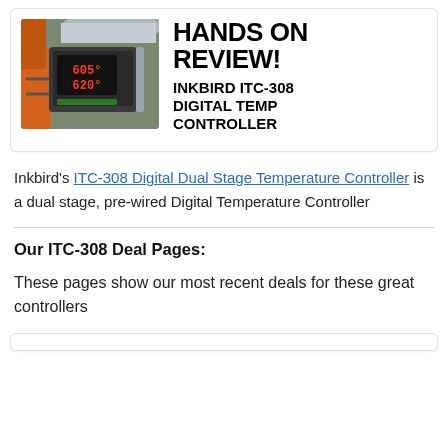[Figure (photo): Photo of Inkbird ITC-308 digital temperature controller device showing display reading 605 and 620 degrees, placed next to brewing equipment with orange and metallic elements. Next to it on the right is bold text reading HANDS ON REVIEW! INKBIRD ITC-308 DIGITAL TEMP CONTROLLER]
Inkbird's ITC-308 Digital Dual Stage Temperature Controller is a dual stage, pre-wired Digital Temperature Controller
Our ITC-308 Deal Pages:
These pages show our most recent deals for these great controllers